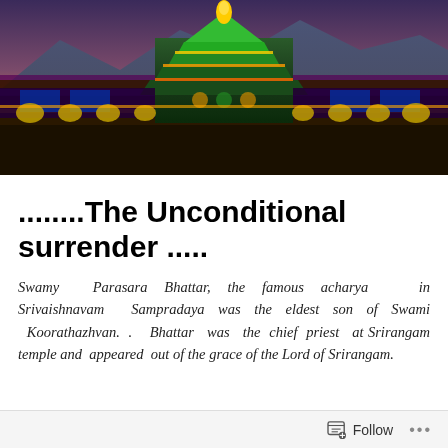[Figure (photo): Night photograph of a large Hindu temple gopuram (tower) illuminated with colorful lights — green, purple, blue, and gold — against a dusk sky with mountains in the background. The temple structure is ornately decorated.]
........The Unconditional surrender .....
Swamy Parasara Bhattar, the famous acharya in Srivaishnavam Sampradaya was the eldest son of Swami Koorathazhvan. . Bhattar was the chief priest at Srirangam temple and appeared out of the grace of the Lord of Srirangam.
Follow ...